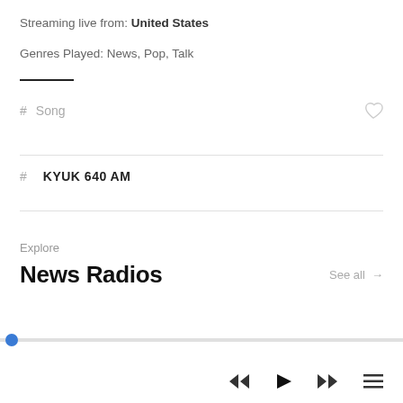Streaming live from: United States
Genres Played: News, Pop, Talk
# Song
# KYUK 640 AM
Explore
News Radios
See all →